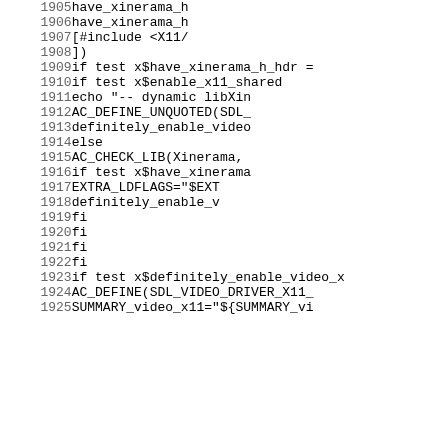[Figure (other): Source code listing with line numbers 1905-1925, showing shell script/autoconf code related to Xinerama library detection for SDL video driver X11]